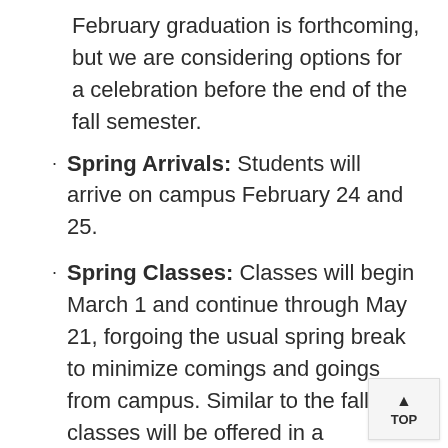February graduation is forthcoming, but we are considering options for a celebration before the end of the fall semester.
Spring Arrivals: Students will arrive on campus February 24 and 25.
Spring Classes: Classes will begin March 1 and continue through May 21, forgoing the usual spring break to minimize comings and goings from campus. Similar to the fall, classes will be offered in a combination of remote, hybrid, and in-person formats. The first week of classes will be conducted